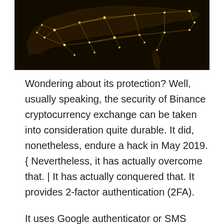[Figure (map): Dark background map of the United States with golden/yellow glowing network nodes and connections overlaid, resembling a network connectivity visualization of the US.]
Wondering about its protection? Well, usually speaking, the security of Binance cryptocurrency exchange can be taken into consideration quite durable. It did, nonetheless, endure a hack in May 2019. { Nevertheless, it has actually overcome that. | It has actually conquered that. It provides 2-factor authentication (2FA).
It uses Google authenticator or SMS authentication for the same. Likewise, it supplies the alternative to the customers to whitelist addresses and to input anti-phishing